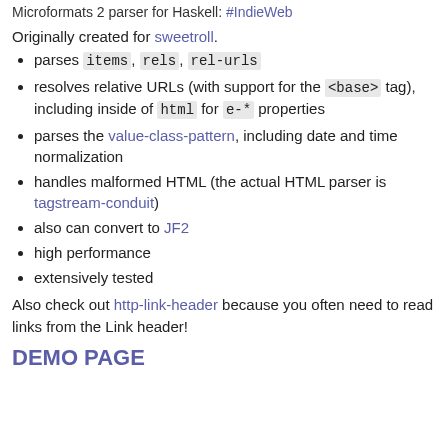Microformats 2 parser for Haskell: #IndieWeb
Originally created for sweetroll.
parses items, rels, rel-urls
resolves relative URLs (with support for the <base> tag), including inside of html for e-* properties
parses the value-class-pattern, including date and time normalization
handles malformed HTML (the actual HTML parser is tagstream-conduit)
also can convert to JF2
high performance
extensively tested
Also check out http-link-header because you often need to read links from the Link header!
DEMO PAGE